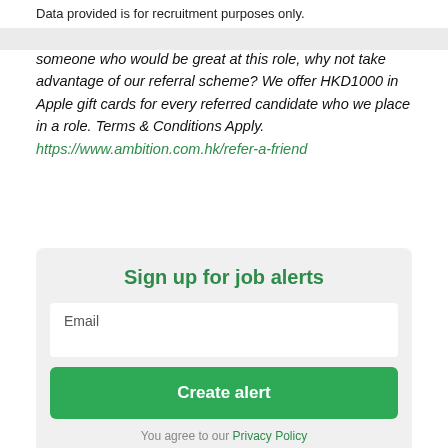Data provided is for recruitment purposes only.
someone who would be great at this role, why not take advantage of our referral scheme? We offer HKD1000 in Apple gift cards for every referred candidate who we place in a role. Terms & Conditions Apply.
https://www.ambition.com.hk/refer-a-friend
Sign up for job alerts
Email
Create alert
You agree to our Privacy Policy